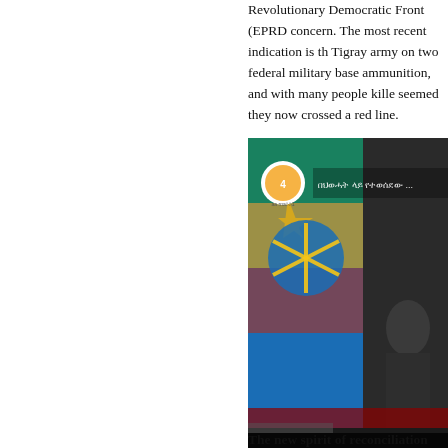Revolutionary Democratic Front (EPRD concern. The most recent indication is the Tigray army on two federal military base ammunition, and with many people kille seemed they now crossed a red line.
[Figure (screenshot): YouTube video thumbnail showing an Ethiopian flag and a person seated, with a YouTube logo overlay and Amharic text in the upper portion. A circular channel logo is visible in the top-left of the video.]
The new spirit of reconciliation